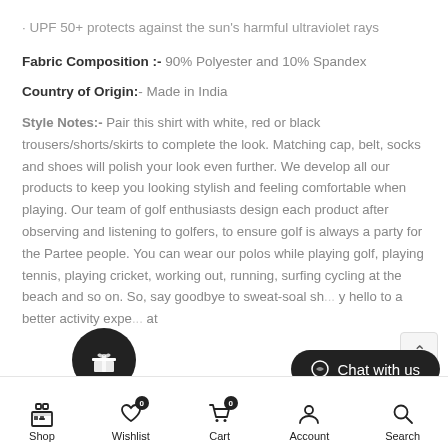· UPF 50+ protects against the sun's harmful ultraviolet rays
Fabric Composition :-  90% Polyester and 10% Spandex
Country of Origin:- Made in India
Style Notes:- Pair this shirt with white, red or black trousers/shorts/skirts to complete the look. Matching cap, belt, socks and shoes will polish your look even further. We develop all our products to keep you looking stylish and feeling comfortable when playing. Our team of golf enthusiasts design each product after observing and listening to golfers, to ensure golf is always a party for the Partee people. You can wear our polos while playing golf, playing tennis, playing cricket, working out, running, surfing, cycling at the beach and so on. So, say goodbye to sweat-soal shirts and say hello to a better activity experience at
Shop   Wishlist 0   Cart 0   Account   Search